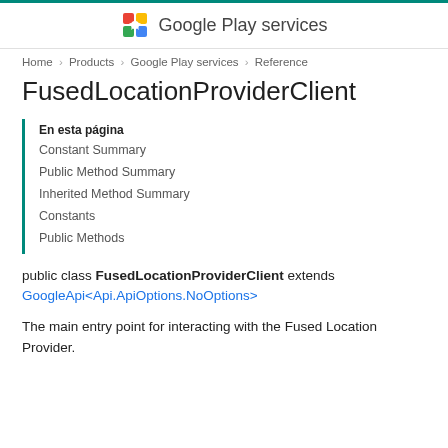Google Play services
Home > Products > Google Play services > Reference
FusedLocationProviderClient
En esta página
Constant Summary
Public Method Summary
Inherited Method Summary
Constants
Public Methods
public class FusedLocationProviderClient extends GoogleApi<Api.ApiOptions.NoOptions>
The main entry point for interacting with the Fused Location Provider.